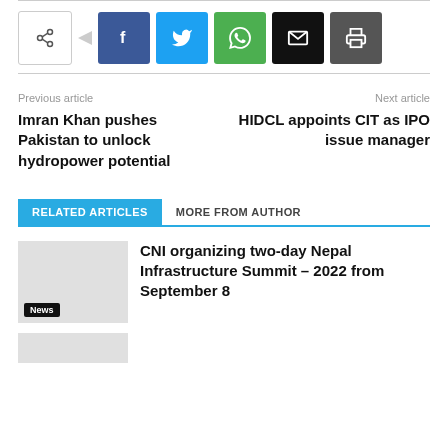[Figure (other): Social share buttons: generic share, Facebook, Twitter, WhatsApp, Email, Print]
Previous article
Imran Khan pushes Pakistan to unlock hydropower potential
Next article
HIDCL appoints CIT as IPO issue manager
RELATED ARTICLES
MORE FROM AUTHOR
CNI organizing two-day Nepal Infrastructure Summit – 2022 from September 8
News